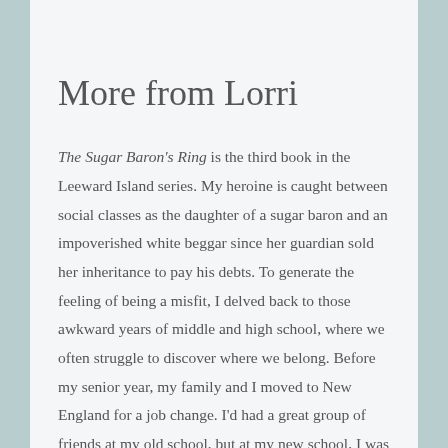More from Lorri
The Sugar Baron's Ring is the third book in the Leeward Island series. My heroine is caught between social classes as the daughter of a sugar baron and an impoverished white beggar since her guardian sold her inheritance to pay his debts. To generate the feeling of being a misfit, I delved back to those awkward years of middle and high school, where we often struggle to discover where we belong. Before my senior year, my family and I moved to New England for a job change. I'd had a great group of friends at my old school, but at my new school, I was a stranger—an outsider—trying to find